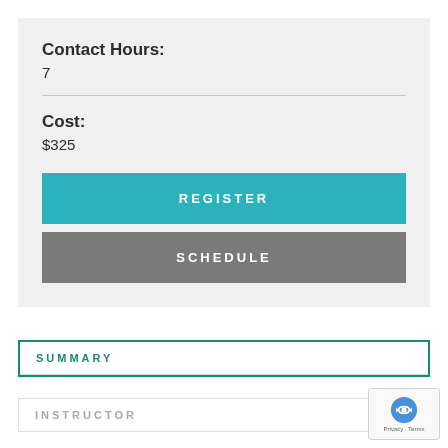Contact Hours:
7
Cost:
$325
REGISTER
SCHEDULE
SUMMARY
INSTRUCTOR